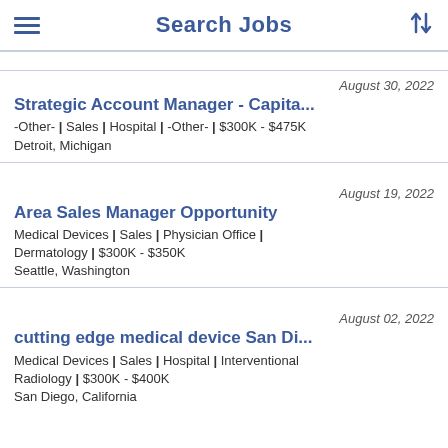Search Jobs
August 30, 2022 | Strategic Account Manager - Capita... | -Other- | Sales | Hospital | -Other- | $300K - $475K | Detroit, Michigan
August 19, 2022 | Area Sales Manager Opportunity | Medical Devices | Sales | Physician Office | Dermatology | $300K - $350K | Seattle, Washington
August 02, 2022 | cutting edge medical device San Di... | Medical Devices | Sales | Hospital | Interventional Radiology | $300K - $400K | San Diego, California